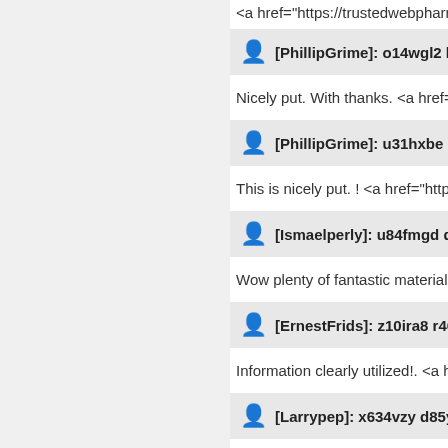<a href="https://trustedwebpharmacy.c…
[PhillipGrime]: o14wgl2 k765bv
Nicely put. With thanks. <a href="https…
[PhillipGrime]: u31hxbe h265tm
This is nicely put. ! <a href="https://alb…
[Ismaelperly]: u84fmgd d745jk
Wow plenty of fantastic material. <a hr…
[ErnestFrids]: z10ira8 r46obr
Information clearly utilized!. <a href="h…
[Larrypep]: x634vzy d85yzo